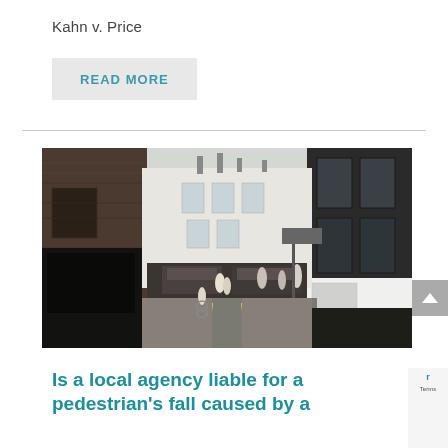Kahn v. Price
READ MORE
[Figure (photo): Street-level view of a narrow urban lane flanked by brick buildings, with white-facade buildings and shops visible ahead, pedestrians walking in the distance.]
Is a local agency liable for a pedestrian's fall caused by a